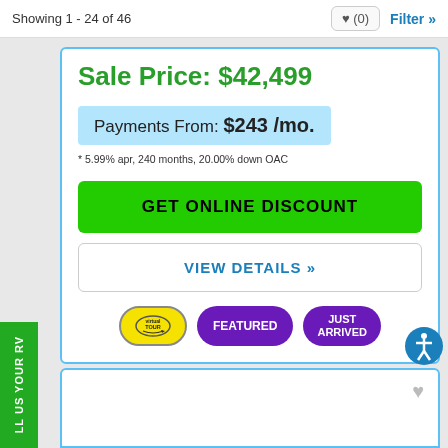Showing 1 - 24 of 46
Sale Price: $42,499
Payments From: $243 /mo.
* 5.99% apr, 240 months, 20.00% down OAC
GET ONLINE DISCOUNT
VIEW DETAILS »
[Figure (other): Virtual Tour badge, yellow oval with arrow icon]
[Figure (other): FEATURED badge, purple rounded rectangle]
[Figure (other): JUST ARRIVED badge, purple rounded rectangle]